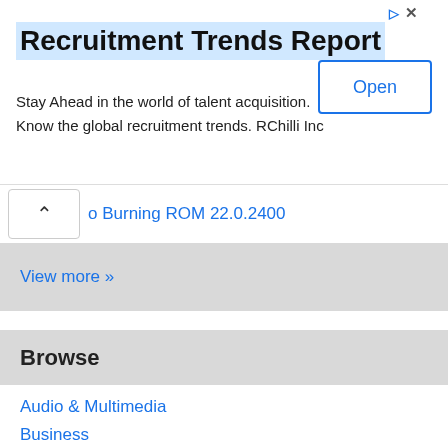[Figure (screenshot): Advertisement banner for Recruitment Trends Report by RChilli Inc with an Open button]
o Burning ROM 22.0.2400
View more »
Browse
Audio & Multimedia
Business
Communications
Desktop
Development
Education
Games & Entertainment
Graphics Applications
Home & Hobby
Internet
Security